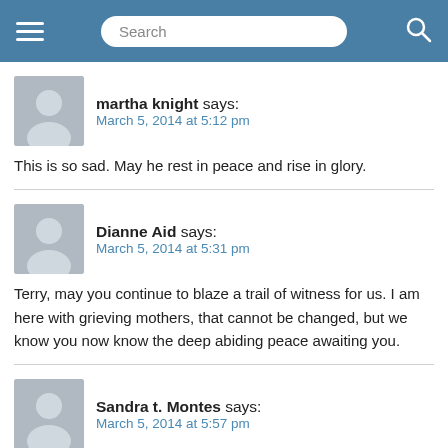Navigation bar with hamburger menu, search box, and search icon
martha knight says:
March 5, 2014 at 5:12 pm
This is so sad. May he rest in peace and rise in glory.
Dianne Aid says:
March 5, 2014 at 5:31 pm
Terry, may you continue to blaze a trail of witness for us. I am here with grieving mothers, that cannot be changed, but we know you now know the deep abiding peace awaiting you.
Sandra t. Montes says:
March 5, 2014 at 5:57 pm